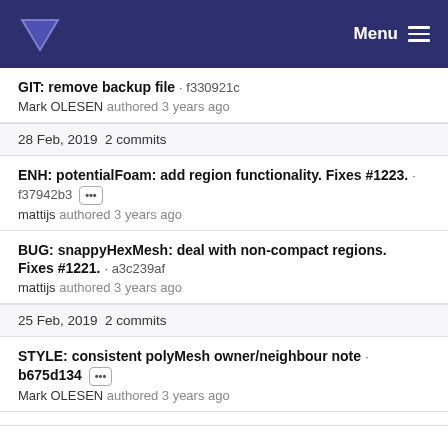Menu
GIT: remove backup file · f330921c
Mark OLESEN authored 3 years ago
28 Feb, 2019 2 commits
ENH: potentialFoam: add region functionality. Fixes #1223. · f37942b3 [...]
mattijs authored 3 years ago
BUG: snappyHexMesh: deal with non-compact regions. Fixes #1221. · a3c239af
mattijs authored 3 years ago
25 Feb, 2019 2 commits
STYLE: consistent polyMesh owner/neighbour note · b675d134 [...]
Mark OLESEN authored 3 years ago